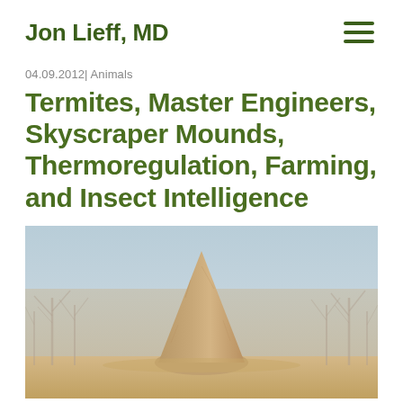Jon Lieff, MD
04.09.2012| Animals
Termites, Master Engineers, Skyscraper Mounds, Thermoregulation, Farming, and Insect Intelligence
[Figure (photo): A tall termite mound rising above sandy ground with bare trees in the background under a light blue sky.]